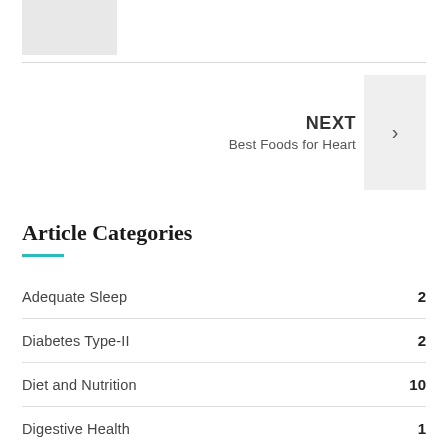[Figure (other): Gray placeholder image box in top left corner]
NEXT
Best Foods for Heart
Article Categories
Adequate Sleep  2
Diabetes Type-II  2
Diet and Nutrition  10
Digestive Health  1